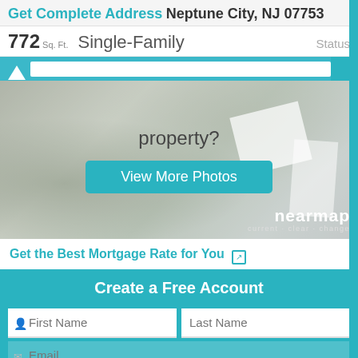Get Complete Address Neptune City, NJ 07753
772 Sq. Ft.  Single-Family   Status
[Figure (photo): Aerial satellite photo of property with overlay showing 'property?' text and 'View More Photos' button, nearmap watermark in bottom right]
Get the Best Mortgage Rate for You
Create a Free Account
First Name   Last Name
Email